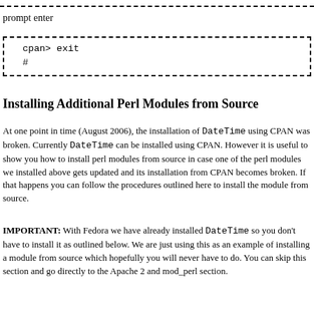prompt enter
cpan> exit
#
Installing Additional Perl Modules from Source
At one point in time (August 2006), the installation of DateTime using CPAN was broken. Currently DateTime can be installed using CPAN. However it is useful to show you how to install perl modules from source in case one of the perl modules we installed above gets updated and its installation from CPAN becomes broken. If that happens you can follow the procedures outlined here to install the module from source.
IMPORTANT: With Fedora we have already installed DateTime so you don't have to install it as outlined below. We are just using this as an example of installing a module from source which hopefully you will never have to do. You can skip this section and go directly to the Apache 2 and mod_perl section.